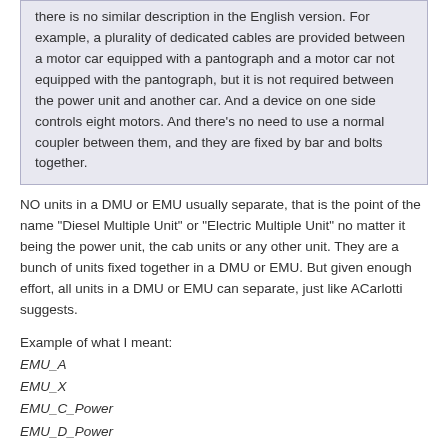there is no similar description in the English version. For example, a plurality of dedicated cables are provided between a motor car equipped with a pantograph and a motor car not equipped with the pantograph, but it is not required between the power unit and another car. And a device on one side controls eight motors. And there's no need to use a normal coupler between them, and they are fixed by bar and bolts together.
NO units in a DMU or EMU usually separate, that is the point of the name "Diesel Multiple Unit" or "Electric Multiple Unit" no matter it being the power unit, the cab units or any other unit. They are a bunch of units fixed together in a DMU or EMU. But given enough effort, all units in a DMU or EMU can separate, just like ACarlotti suggests.
Example of what I meant:
EMU_A
EMU_X
EMU_C_Power
EMU_D_Power
EMU_X
EMU_B
The A-unit and B-unit have cabs on the outside and have to be at